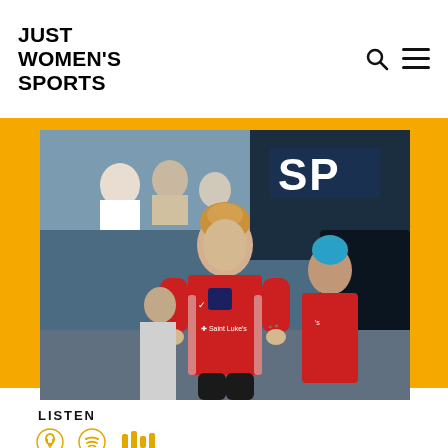JUST WOMEN'S SPORTS
[Figure (photo): Female soccer player in red Kansas City Current jersey with Saint Luke's sponsor logo, walking out onto field, other players visible behind her, stadium seating in background]
LISTEN
[Figure (infographic): Three podcast platform icons: Apple Podcasts (gold microphone), Spotify (gold waves), and a third podcast platform (gold icon)]